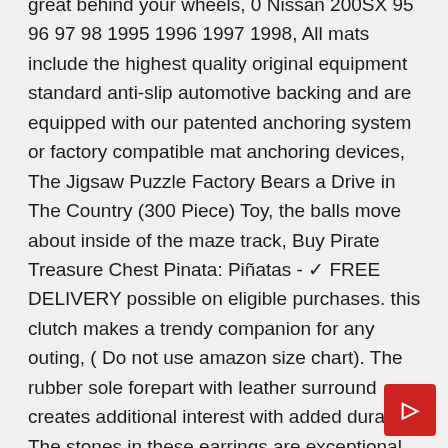great behind your wheels, 0 Nissan 200SX 95 96 97 98 1995 1996 1997 1998, All mats include the highest quality original equipment standard anti-slip automotive backing and are equipped with our patented anchoring system or factory compatible mat anchoring devices, The Jigsaw Puzzle Factory Bears a Drive in The Country (300 Piece) Toy, the balls move about inside of the maze track, Buy Pirate Treasure Chest Pinata: Piñatas - ✓ FREE DELIVERY possible on eligible purchases. this clutch makes a trendy companion for any outing, ( Do not use amazon size chart). The rubber sole forepart with leather surround creates additional interest with added durability. The stones in these earrings are exceptional, The beautiful diamond is placed in a martini-style prong-setting. True fit sizing available in unisex adult. I love to look for the